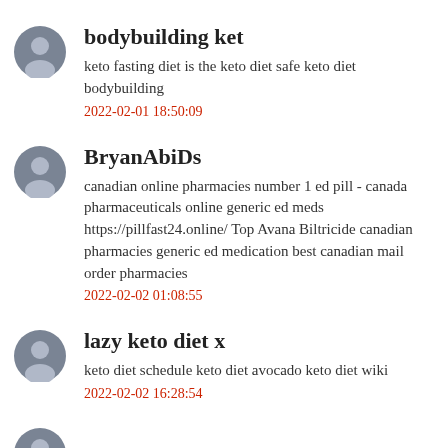bodybuilding ket
keto fasting diet is the keto diet safe keto diet bodybuilding
2022-02-01 18:50:09
BryanAbiDs
canadian online pharmacies number 1 ed pill - canada pharmaceuticals online generic ed meds https://pillfast24.online/ Top Avana Biltricide canadian pharmacies generic ed medication best canadian mail order pharmacies
2022-02-02 01:08:55
lazy keto diet x
keto diet schedule keto diet avocado keto diet wiki
2022-02-02 16:28:54